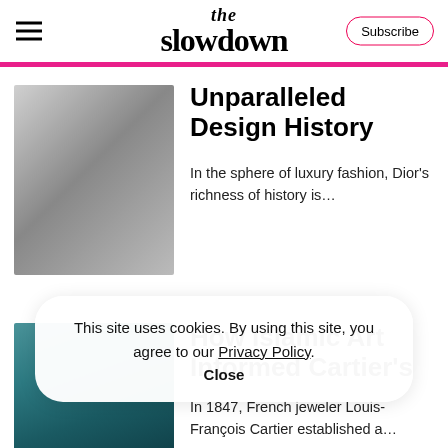the slowdown | Subscribe
Unparalleled Design History
In the sphere of luxury fashion, Dior's richness of history is...
How Islamic Art Informed Cartier's
In 1847, French jeweler Louis-François Cartier established a...
This site uses cookies. By using this site, you agree to our Privacy Policy. Close